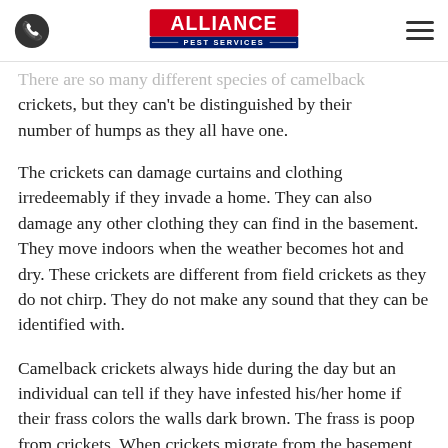Alliance Pest Services
There are so many different species of camelback crickets, but they can't be distinguished by their number of humps as they all have one.
The crickets can damage curtains and clothing irredeemably if they invade a home. They can also damage any other clothing they can find in the basement. They move indoors when the weather becomes hot and dry. These crickets are different from field crickets as they do not chirp. They do not make any sound that they can be identified with.
Camelback crickets always hide during the day but an individual can tell if they have infested his/her home if their frass colors the walls dark brown. The frass is poop from crickets. When crickets migrate from the basement to search food and moist areas to lay their eggs, they can be